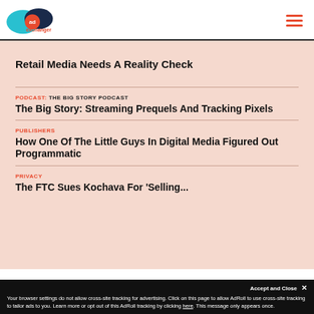AdExchanger
Retail Media Needs A Reality Check
PODCAST: THE BIG STORY PODCAST
The Big Story: Streaming Prequels And Tracking Pixels
PUBLISHERS
How One Of The Little Guys In Digital Media Figured Out Programmatic
PRIVACY
The FTC Sues Kochava For 'Selling...
Your browser settings do not allow cross-site tracking for advertising. Click on this page to allow AdRoll to use cross-site tracking to tailor ads to you. Learn more or opt out of this AdRoll tracking by clicking here. This message only appears once.